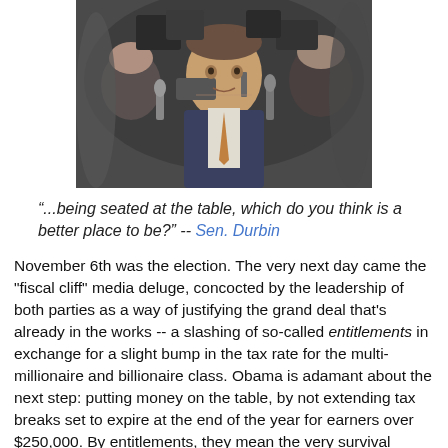[Figure (photo): A man in a suit surrounded by reporters holding microphones and recording devices in a press scrum]
“...being seated at the table, which do you think is a better place to be?” -- Sen. Durbin
November 6th was the election. The very next day came the "fiscal cliff" media deluge, concocted by the leadership of both parties as a way of justifying the grand deal that's already in the works -- a slashing of so-called entitlements in exchange for a slight bump in the tax rate for the multi-millionaire and billionaire class. Obama is adamant about the next step: putting money on the table, by not extending tax breaks set to expire at the end of the year for earners over $250,000. By entitlements, they mean the very survival basics of millions of poor and elderly -- social-security, medicare, medicaid. Also on the table are more massive cuts to public education.